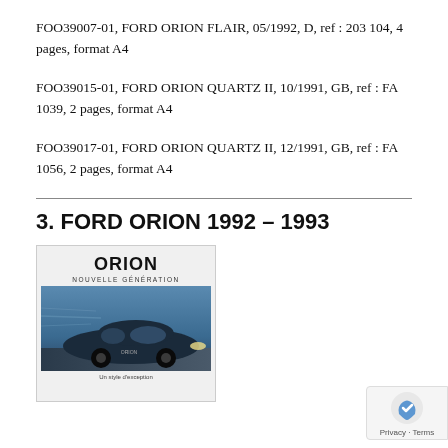FOO39007-01, FORD ORION FLAIR, 05/1992, D, ref : 203 104, 4 pages, format A4
FOO39015-01, FORD ORION QUARTZ II, 10/1991, GB, ref : FA 1039, 2 pages, format A4
FOO39017-01, FORD ORION QUARTZ II, 12/1991, GB, ref : FA 1056, 2 pages, format A4
3. FORD ORION 1992 – 1993
[Figure (photo): Brochure cover for Ford Orion Nouvelle Generation showing a dark blue Ford Orion car driving with motion blur background. Text 'ORION' and 'NOUVELLE GENERATION' at top, caption below.]